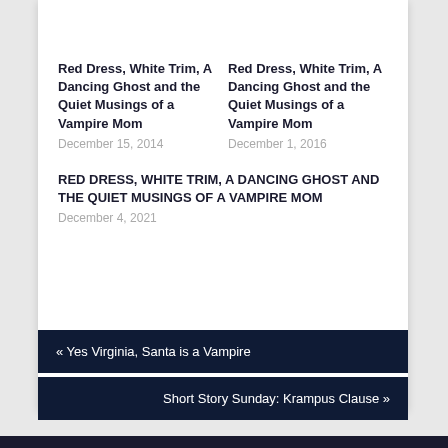Red Dress, White Trim, A Dancing Ghost and the Quiet Musings of a Vampire Mom
December 15, 2014
Red Dress, White Trim, A Dancing Ghost and the Quiet Musings of a Vampire Mom
December 1, 2016
RED DRESS, WHITE TRIM, A DANCING GHOST AND THE QUIET MUSINGS OF A VAMPIRE MOM
December 4, 2021
« Yes Virginia, Santa is a Vampire
Short Story Sunday: Krampus Clause »